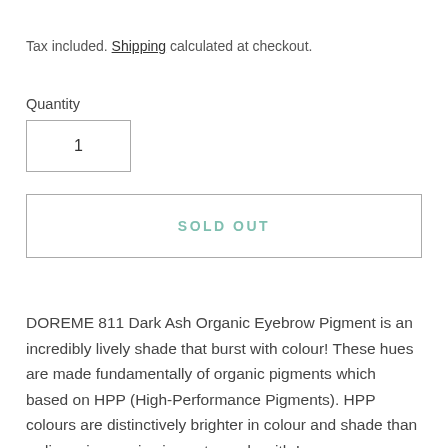Tax included. Shipping calculated at checkout.
Quantity
1
SOLD OUT
DOREME 811 Dark Ash Organic Eyebrow Pigment is an incredibly lively shade that burst with colour! These hues are made fundamentally of organic pigments which based on HPP (High-Performance Pigments). HPP colours are distinctively brighter in colour and shade than ordinary inorganic pigments made with Iron